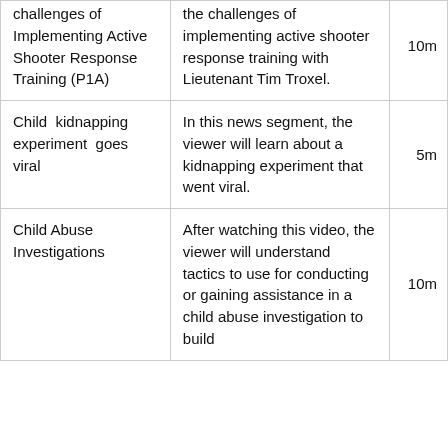| Title | Description | Duration |
| --- | --- | --- |
| Challenges of Implementing Active Shooter Response Training (P1A) | … the challenges of implementing active shooter response training with Lieutenant Tim Troxel. | 10m |
| Child kidnapping experiment goes viral | In this news segment, the viewer will learn about a kidnapping experiment that went viral. | 5m |
| Child Abuse Investigations | After watching this video, the viewer will understand tactics to use for conducting or gaining assistance in a child abuse investigation to build | 10m |